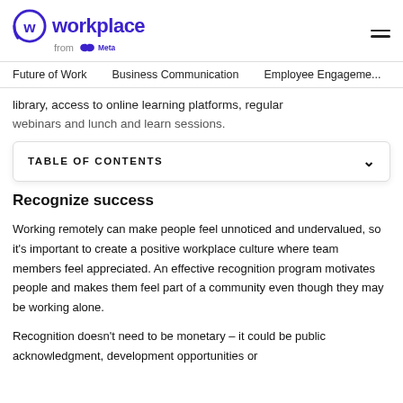Workplace from Meta
Future of Work   Business Communication   Employee Engagement
library, access to online learning platforms, regular webinars and lunch and learn sessions.
TABLE OF CONTENTS
Recognize success
Working remotely can make people feel unnoticed and undervalued, so it's important to create a positive workplace culture where team members feel appreciated. An effective recognition program motivates people and makes them feel part of a community even though they may be working alone.
Recognition doesn't need to be monetary – it could be public acknowledgment, development opportunities or